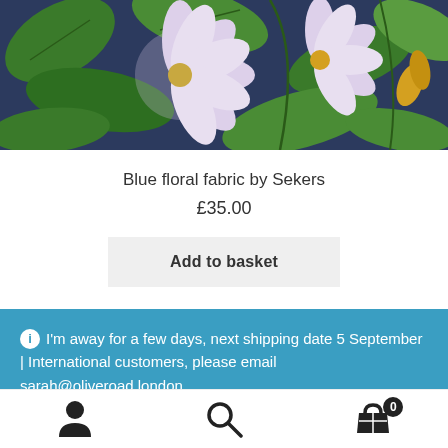[Figure (photo): Close-up photo of blue floral fabric showing pale purple/white flowers with green leaves on a dark navy background]
Blue floral fabric by Sekers
£35.00
Add to basket
I'm away for a few days, next shipping date 5 September | International customers, please email sarah@oliveroad.london
Dismiss